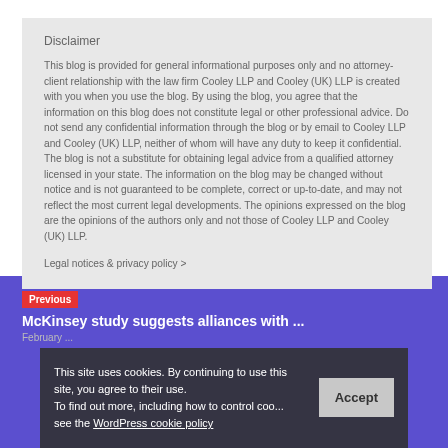Disclaimer
This blog is provided for general informational purposes only and no attorney-client relationship with the law firm Cooley LLP and Cooley (UK) LLP is created with you when you use the blog. By using the blog, you agree that the information on this blog does not constitute legal or other professional advice. Do not send any confidential information through the blog or by email to Cooley LLP and Cooley (UK) LLP, neither of whom will have any duty to keep it confidential. The blog is not a substitute for obtaining legal advice from a qualified attorney licensed in your state. The information on the blog may be changed without notice and is not guaranteed to be complete, correct or up-to-date, and may not reflect the most current legal developments. The opinions expressed on the blog are the opinions of the authors only and not those of Cooley LLP and Cooley (UK) LLP.
Legal notices & privacy policy >
Previous
McKinsey study suggests alliances with...
February...
This site uses cookies. By continuing to use this site, you agree to their use.
To find out more, including how to control cookies, see the WordPress cookie policy